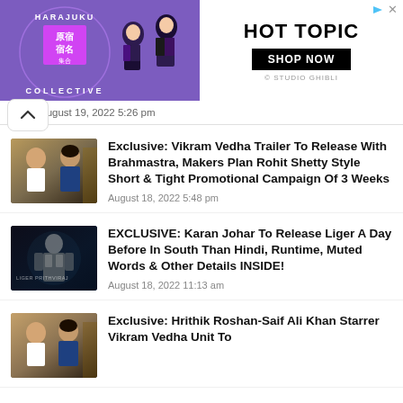[Figure (illustration): Hot Topic advertisement banner featuring Harajuku Collective branding with purple background, two anime-style dressed figures, and Shop Now button]
August 19, 2022 5:26 pm
Exclusive: Vikram Vedha Trailer To Release With Brahmastra, Makers Plan Rohit Shetty Style Short & Tight Promotional Campaign Of 3 Weeks
August 18, 2022 5:48 pm
EXCLUSIVE: Karan Johar To Release Liger A Day Before In South Than Hindi, Runtime, Muted Words & Other Details INSIDE!
August 18, 2022 11:13 am
Exclusive: Hrithik Roshan-Saif Ali Khan Starrer Vikram Vedha Unit To